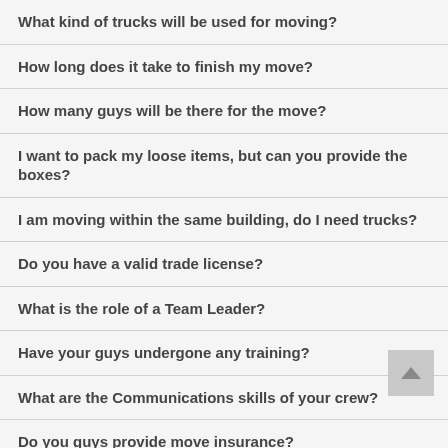What kind of trucks will be used for moving?
How long does it take to finish my move?
How many guys will be there for the move?
I want to pack my loose items, but can you provide the boxes?
I am moving within the same building, do I need trucks?
Do you have a valid trade license?
What is the role of a Team Leader?
Have your guys undergone any training?
What are the Communications skills of your crew?
Do you guys provide move insurance?